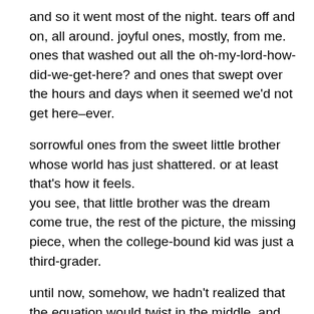and so it went most of the night. tears off and on, all around. joyful ones, mostly, from me. ones that washed out all the oh-my-lord-how-did-we-get-here? and ones that swept over the hours and days when it seemed we'd not get here–ever.
sorrowful ones from the sweet little brother whose world has just shattered. or at least that's how it feels.
you see, that little brother was the dream come true, the rest of the picture, the missing piece, when the college-bound kid was just a third-grader.
until now, somehow, we hadn't realized that the equation would twist in the middle, and the little one who's only known full, who's only known what it is to have a big brother just down the hall and two steps away, well he now is trying to make sense of how that room can go dark, how